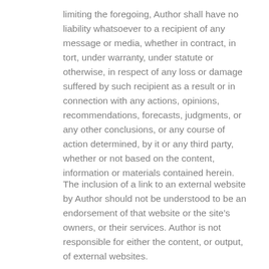limiting the foregoing, Author shall have no liability whatsoever to a recipient of any message or media, whether in contract, in tort, under warranty, under statute or otherwise, in respect of any loss or damage suffered by such recipient as a result or in connection with any actions, opinions, recommendations, forecasts, judgments, or any other conclusions, or any course of action determined, by it or any third party, whether or not based on the content, information or materials contained herein.
The inclusion of a link to an external website by Author should not be understood to be an endorsement of that website or the site's owners, or their services. Author is not responsible for either the content, or output, of external websites.